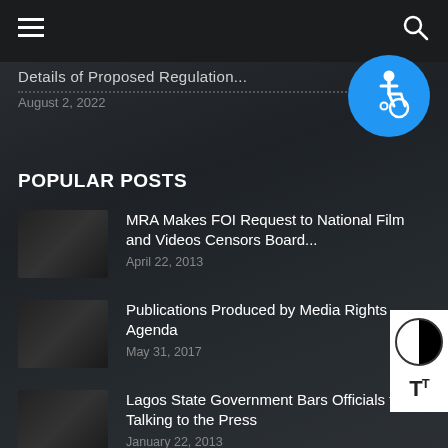Details of Proposed Regulation | August 2, 2022
POPULAR POSTS
MRA Makes FOI Request to National Film and Videos Censors Board... | April 22, 2013
Publications Produced by Media Rights Agenda | May 31, 2017
Lagos State Government Bars Officials from Talking to the Press | January 22, 2013